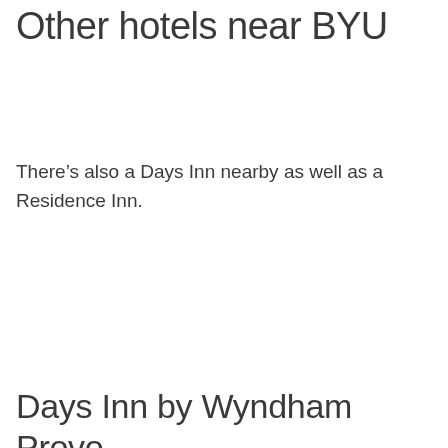Other hotels near BYU
There’s also a Days Inn nearby as well as a Residence Inn.
Days Inn by Wyndham Provo